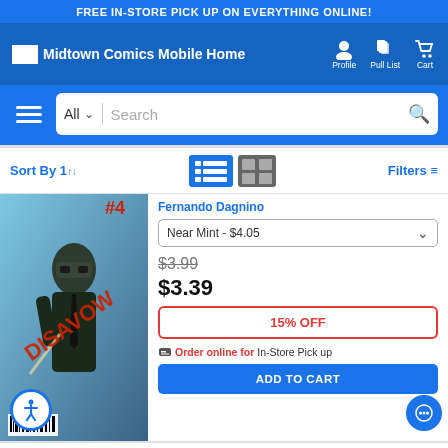FREE IN-STORE PICK UP ON EVERYTHING ONLINE!
[Figure (screenshot): Midtown Comics Mobile Home navigation bar with logo, Profile, Pull List, and Cart icons]
[Figure (screenshot): Search bar with hamburger menu, All category dropdown, search input, and search icon button]
Sort By | Filters
[Figure (photo): Comic book cover: Killers #4 featuring a masked figure in a suit]
Fernando Dagnino
Near Mint - $4.05
$3.99
$3.39
15% OFF
Order online for In-Store Pick up
ADD TO CART
Killers #4 Cover C Variant Rick...